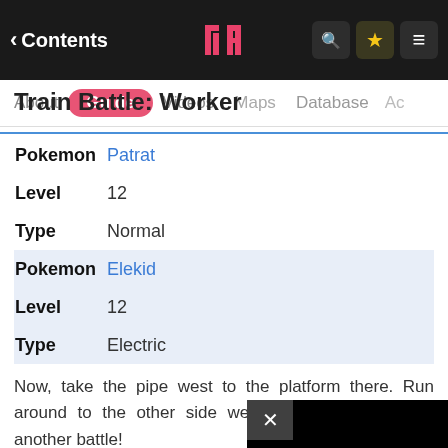Contents | [logo] | Search | Favorites | Menu
About | Guide | Videos | Maps | Database | Ac...
Train Battle: Worker
| Field | Value |
| --- | --- |
| Pokemon | Patrat |
| Level | 12 |
| Type | Normal |
| Pokemon | Elekid |
| Level | 12 |
| Type | Electric |
Now, take the pipe west to the platform there. Run around to the other side west to the platform with another battle!